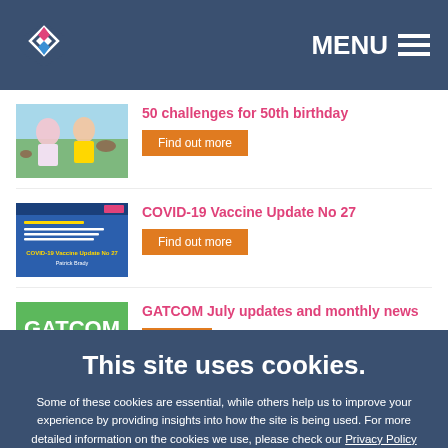MENU
50 challenges for 50th birthday
Find out more
[Figure (photo): Thumbnail image showing two people outdoors, one in yellow shirt]
COVID-19 Vaccine Update No 27
Find out more
[Figure (screenshot): COVID-19 Vaccine Update No 27 document thumbnail with blue background, text by Patrick Brady]
GATCOM July updates and monthly news
[Figure (logo): GATCOM green logo]
This site uses cookies.
Some of these cookies are essential, while others help us to improve your experience by providing insights into how the site is being used. For more detailed information on the cookies we use, please check our Privacy Policy
Select preferences
Accept all